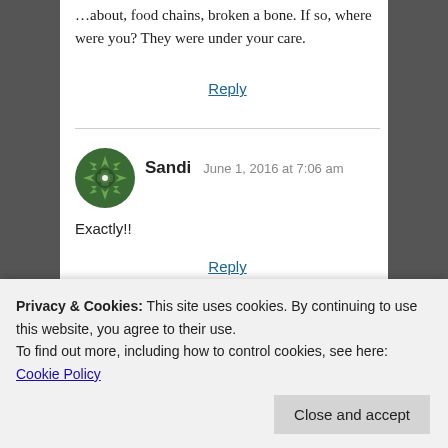…about, food chains, broken a bone. If so, where were you? They were under your care.
Reply
[Figure (illustration): Circular avatar icon with green geometric/floral pattern for user Sandi]
Sandi  June 1, 2016 at 7:06 am
Exactly!!
Reply
Privacy & Cookies: This site uses cookies. By continuing to use this website, you agree to their use.
To find out more, including how to control cookies, see here: Cookie Policy
Close and accept
killed the child, he would have been shot anyway. If